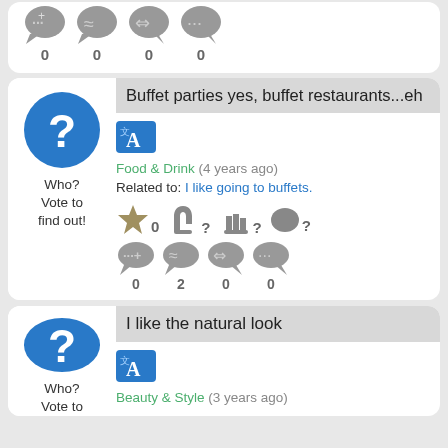[Figure (screenshot): Top partial card showing speech bubble icons with counts 0, 0, 0, 0]
[Figure (screenshot): Card: Buffet parties yes, buffet restaurants...eh. Food & Drink, 4 years ago. Related to: I like going to buffets. Vote icons with star=0, hand=?, two-fingers=?, fist=?. Speech bubble counts: 0, 2, 0, 0]
[Figure (screenshot): Card: I like the natural look. Beauty & Style, 3 years ago. Partially visible.]